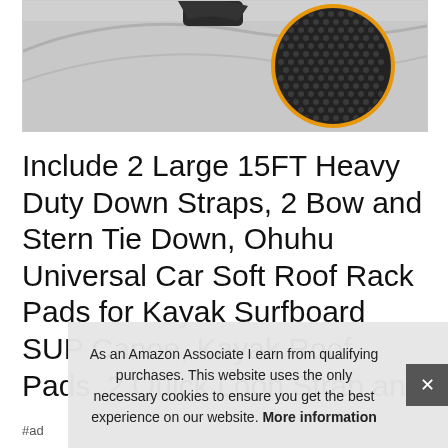[Figure (photo): Close-up product photo showing a car roof rack pad with a circular inset zooming in on the non-slip textured surface material. The background shows a white/silver car roof.]
Include 2 Large 15FT Heavy Duty Down Straps, 2 Bow and Stern Tie Down, Ohuhu Universal Car Soft Roof Rack Pads for Kayak Surfboard SUP Canoe, Kayak Roof Pads, 2 Quick Loon Strap an...
#ad
As an Amazon Associate I earn from qualifying purchases. This website uses the only necessary cookies to ensure you get the best experience on our website. More information